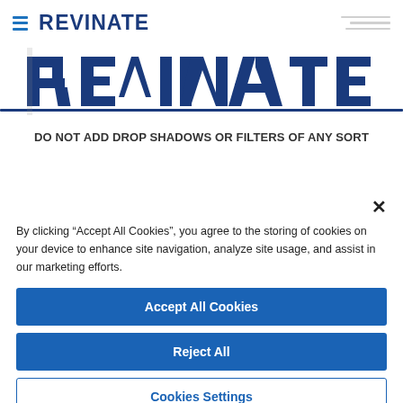[Figure (logo): Revinate logo with hamburger menu icon and brand name in dark navy blue bold text, with partially visible logo image below showing large dashed/stylized Revinate text]
DO NOT ADD DROP SHADOWS OR FILTERS OF ANY SORT
By clicking “Accept All Cookies”, you agree to the storing of cookies on your device to enhance site navigation, analyze site usage, and assist in our marketing efforts.
Accept All Cookies
Reject All
Cookies Settings